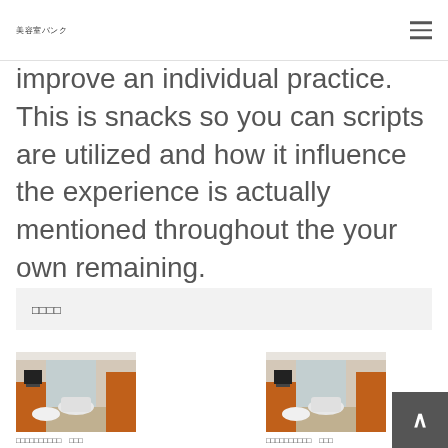美容室バンク
improve an individual practice. This is snacks so you can scripts are utilized and how it influence the experience is actually mentioned throughout the your own remaining.
□□□□
[Figure (photo): Interior of a hair salon with orange/wood furniture, styling chairs, mirrors and salon equipment]
□□□□□□□□□□　□□□
□□□□
[Figure (photo): Interior of a hair salon with orange/wood furniture, styling chairs, mirrors and salon equipment]
□□□□□□□□□□　□□□
□□